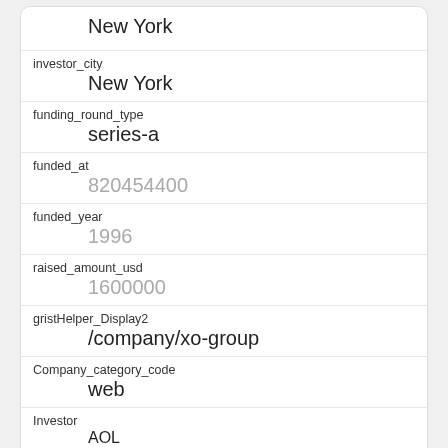| field | value |
| --- | --- |
|  | New York |
| investor_city | New York |
| funding_round_type | series-a |
| funded_at | 820454400 |
| funded_year | 1996 |
| raised_amount_usd | 1600000 |
| gristHelper_Display2 | /company/xo-group |
| Company_category_code | web |
| Investor | AOL https://www.crunchbase.com/company/aol |
| field | value |
| --- | --- |
| id | 2152 |